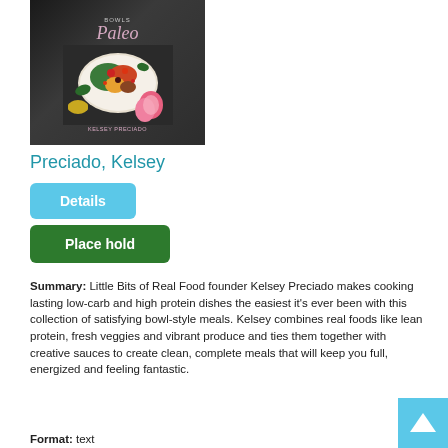[Figure (photo): Book cover for a Paleo bowl-style cookbook by Kelsey Preciado, showing a dark background with colorful food bowls and a script title.]
Preciado, Kelsey
Details
Place hold
Summary: Little Bits of Real Food founder Kelsey Preciado makes cooking lasting low-carb and high protein dishes the easiest it's ever been with this collection of satisfying bowl-style meals. Kelsey combines real foods like lean protein, fresh veggies and vibrant produce and ties them together with creative sauces to create clean, complete meals that will keep you full, energized and feeling fantastic.
Format: text